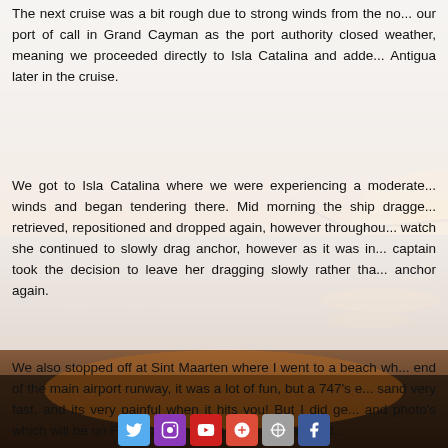The next cruise was a bit rough due to strong winds from the north, missing our port of call in Grand Cayman as the port authority closed due to bad weather, meaning we proceeded directly to Isla Catalina and added a stop at Antigua later in the cruise.
We got to Isla Catalina where we were experiencing a moderate swell and winds and began tendering there. Mid morning the ship dragged anchor, it was retrieved, repositioned and dropped again, however throughout the anchor watch she continued to slowly drag anchor, however as it was in a safe area the captain took the decision to leave her dragging slowly rather than retrieve the anchor again.
We also stopped off at Sint Maarten where I went to a beach which is at the end of the main airport runway, it was a lot of fun, but a 747's engines blast sand very fast, and its very painful when it hits you! But I did get some video and photo's which will be on Facebook when I get home in around
[Figure (photo): Sunset over water with golden light reflecting on the sea, silhouette of a bridge or structure visible in the background. Background image for the blog post page.]